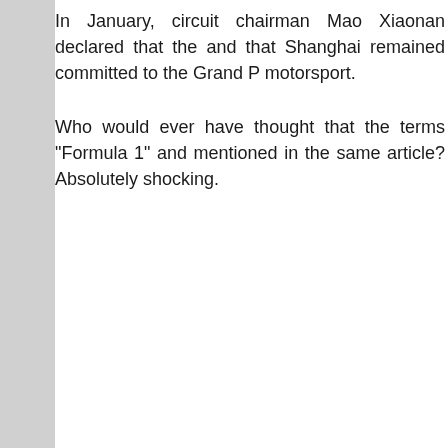In January, circuit chairman Mao Xiaonan declared that the and that Shanghai remained committed to the Grand P motorsport.
Who would ever have thought that the terms "Formula 1" and mentioned in the same article? Absolutely shocking.